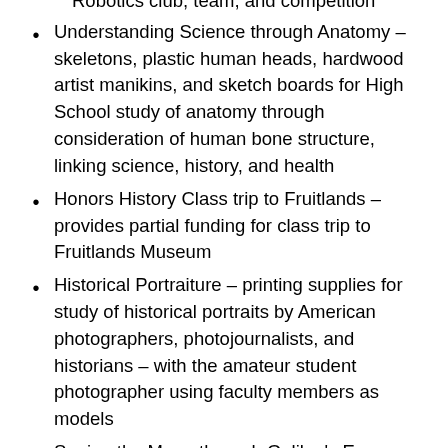Robotics club, team, and competition
Understanding Science through Anatomy – skeletons, plastic human heads, hardwood artist manikins, and sketch boards for High School study of anatomy through consideration of human bone structure, linking science, history, and health
Honors History Class trip to Fruitlands – provides partial funding for class trip to Fruitlands Museum
Historical Portraiture – printing supplies for study of historical portraits by American photographers, photojournalists, and historians – with the amateur student photographer using faculty members as models
Seeing the Moon through Galileo's Eyes